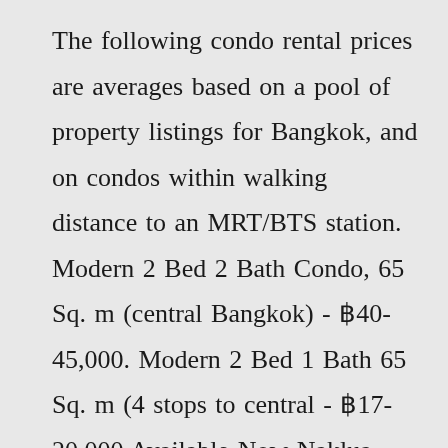The following condo rental prices are averages based on a pool of property listings for Bangkok, and on condos within walking distance to an MRT/BTS station. Modern 2 Bed 2 Bath Condo, 65 Sq. m (central Bangkok) - ฿40-45,000. Modern 2 Bed 1 Bath 65 Sq. m (4 stops to central - ฿17-20,000.Available Now Naklua. For Sale. ฿ 1,300,000. For Rent. ฿ 5,000. Bedrooms: 1 Bathrooms: 1 Living area : 23